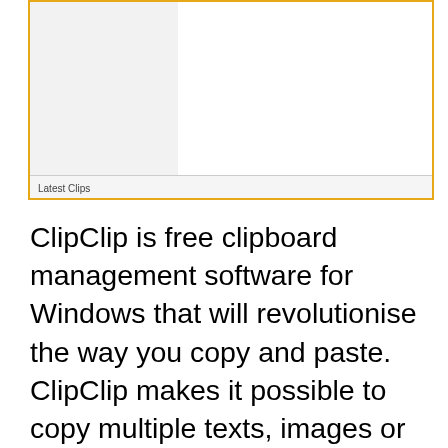[Figure (screenshot): A screenshot of the ClipClip application window showing a two-panel interface with a left sidebar and main content area. The window has an orange/yellow border. At the bottom left it reads 'Latest Clips'.]
ClipClip is free clipboard management software for Windows that will revolutionise the way you copy and paste. ClipClip makes it possible to copy multiple texts, images or files to your clipboard. You can then browse or search through these Latest Clips, or convert them to Saved Clips so you can assign a title and organise them into folders for later re-use.
Multiple Clipboard Entries & Folders
Search Clipboard History
Drag & Drop Clipboard Organization